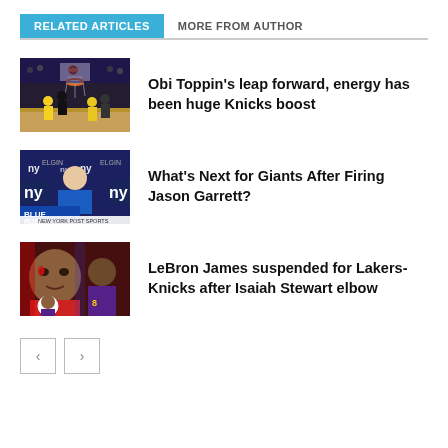RELATED ARTICLES | MORE FROM AUTHOR
[Figure (photo): Basketball game photo showing players near a hoop, likely an NBA game with yellow and dark uniforms]
Obi Toppin’s leap forward, energy has been huge Knicks boost
[Figure (photo): NFL Giants press conference photo showing a coach in blue jacket, 'Blue Rush' and 'New York Post Sports' lower thirds visible]
What’s Next for Giants After Firing Jason Garrett?
[Figure (photo): LeBron James with blood on his face, Isaiah Stewart incident photo from Lakers-Knicks game]
LeBron James suspended for Lakers-Knicks after Isaiah Stewart elbow